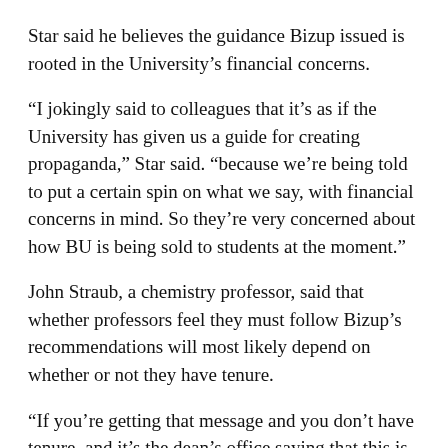Star said he believes the guidance Bizup issued is rooted in the University’s financial concerns.
“I jokingly said to colleagues that it’s as if the University has given us a guide for creating propaganda,” Star said. “because we’re being told to put a certain spin on what we say, with financial concerns in mind. So they’re very concerned about how BU is being sold to students at the moment.”
John Straub, a chemistry professor, said that whether professors feel they must follow Bizup’s recommendations will most likely depend on whether or not they have tenure.
“If you’re getting that message and you don’t have tenure, and it’s the dean’s office saying that this is advice, it feels very different,” Straub said, “particularly in these times when other’s argue always about financial…”